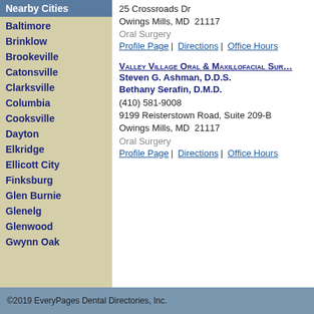Nearby Cities
Baltimore
Brinklow
Brookeville
Catonsville
Clarksville
Columbia
Cooksville
Dayton
Elkridge
Ellicott City
Finksburg
Glen Burnie
Glenelg
Glenwood
Gwynn Oak
25 Crossroads Dr
Owings Mills, MD  21117
Oral Surgery
Profile Page | Directions | Office Hours
Valley Village Oral & Maxillofacial Surgery
Steven G. Ashman, D.D.S.
Bethany Serafin, D.M.D.
(410) 581-9008
9199 Reisterstown Road, Suite 209-B
Owings Mills, MD  21117
Oral Surgery
Profile Page | Directions | Office Hours
©2019 EveryPages Dental Directories, Inc.